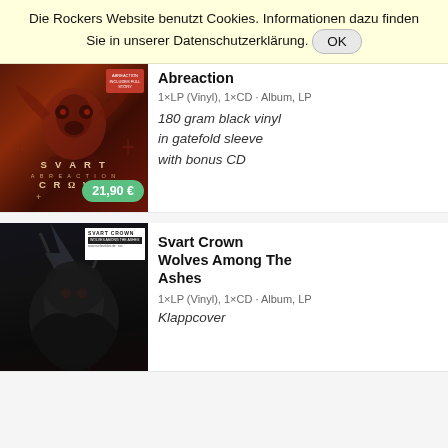Die Rockers Website benutzt Cookies. Informationen dazu finden Sie in unserer Datenschutzerklärung. OK
Abreaction
1×LP (Vinyl), 1×CD · Album, LP
180 gram black vinyl in gatefold sleeve with bonus CD
[Figure (photo): Album cover for Svart Crown - Abreaction, dark red/brown artwork with demonic figure, price tag 21,90 €]
Svart Crown
Wolves Among The Ashes
1×LP (Vinyl), 1×CD · Album, LP
Klappcover
[Figure (photo): Album cover for Svart Crown - Wolves Among The Ashes, dark metallic creature with lightning background]